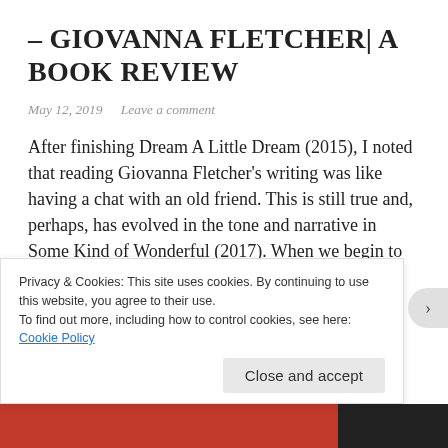– GIOVANNA FLETCHER| A BOOK REVIEW
May 12, 2019   Leave a comment
After finishing Dream A Little Dream (2015), I noted that reading Giovanna Fletcher's writing was like having a chat with an old friend. This is still true and, perhaps, has evolved in the tone and narrative in Some Kind of Wonderful (2017). When we begin to read a book, we want to be able to … Continue reading
Privacy & Cookies: This site uses cookies. By continuing to use this website, you agree to their use.
To find out more, including how to control cookies, see here:
Cookie Policy
Close and accept